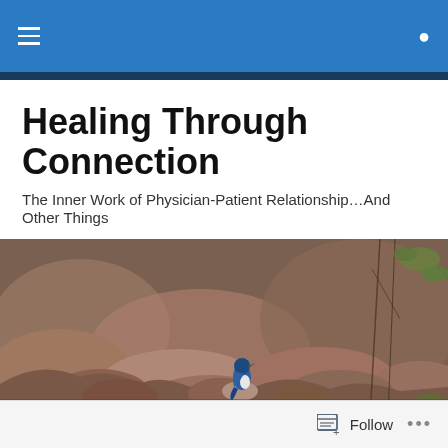Healing Through Connection — navigation header with hamburger menu and search icon
Healing Through Connection
The Inner Work of Physician-Patient Relationship…And Other Things
[Figure (photo): A small blue jay bird perched on reddish-brown rocks in an outdoor setting with blurred background of rocks and bare branches with greenery]
TAGGED WITH ALEX LICKERMAN MD
Follow button and more options (...)